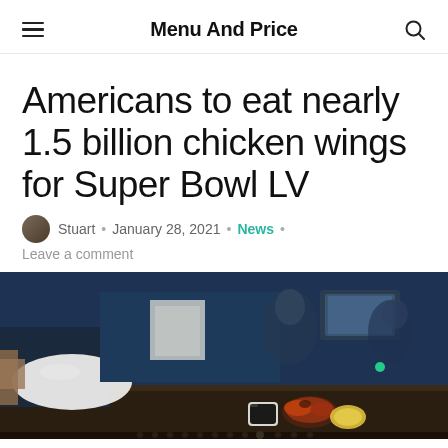Menu And Price
Americans to eat nearly 1.5 billion chicken wings for Super Bowl LV
Stuart • January 28, 2021 • News • Leave a comment
[Figure (photo): Restaurant bar scene with chicken wings and a dipping sauce on the counter, dark blue bar background with blurred people and electronics in background]